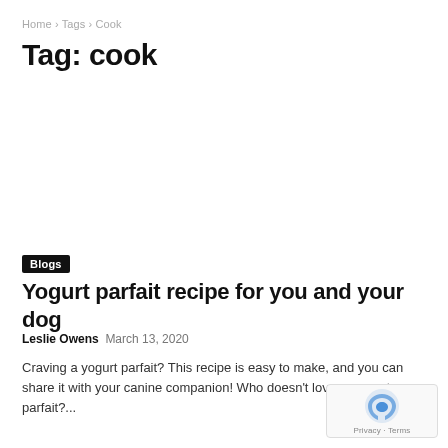Home › Tags › Cook
Tag: cook
Blogs
Yogurt parfait recipe for you and your dog
Leslie Owens · March 13, 2020
Craving a yogurt parfait? This recipe is easy to make, and you can share it with your canine companion! Who doesn't love a yogurt parfait?...